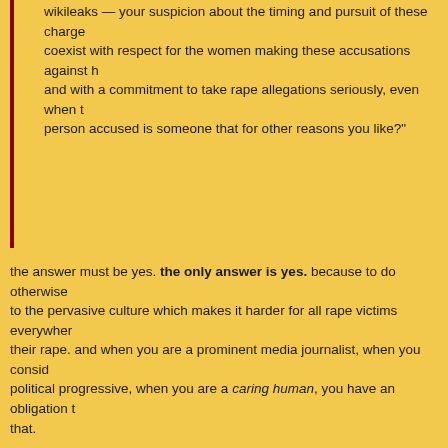wikileaks — your suspicion about the timing and pursuit of these charges can coexist with respect for the women making these accusations against him, and with a commitment to take rape allegations seriously, even when the person accused is someone that for other reasons you like?"
the answer must be yes. the only answer is yes. because to do otherwise contributes to the pervasive culture which makes it harder for all rape victims everywhere to report their rape. and when you are a prominent media journalist, when you consider yourself a political progressive, when you are a caring human, you have an obligation to understand that.
sady doyle, at the considerable personal expense of death threats and rape threats and online harrassment and defamation, kept us all going with her persistence and pursuit of truth in the face of so many lies, so many obstacles, because:
"this happens, this happens over and over and over again, every time. it's not about assange. he isn't a special exception. the way this case has been treated is not unusual. this happens every time a woman reports to the police that a man with fans and a lot of people in his corner has raped her. every fucking time. they — the people in charge bully her, his fans bully her, the media bullies her, until she will fucking go away, so people can keep pretending that it never happened. so that she'll disappear, so that women just agree to shut up and make it easier for people to"